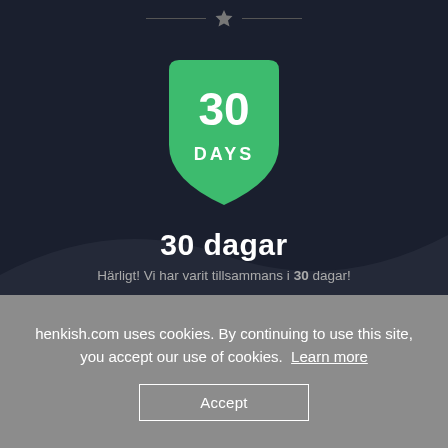[Figure (illustration): Dark background app screen showing a green shield badge with '30 DAYS' text, a star icon with horizontal lines, and a light wave swoosh shape]
30 dagar
Härligt! Vi har varit tillsammans i 30 dagar!
henkish.com uses cookies. By continuing to use this site, you accept our use of cookies.  Learn more
Accept